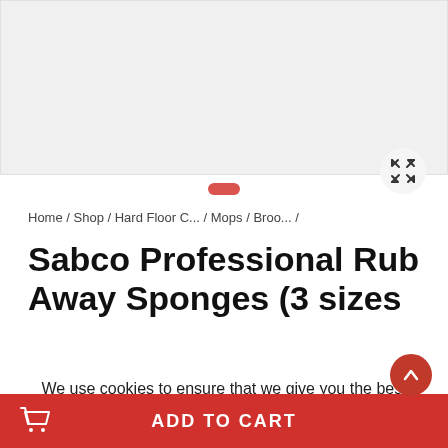[Figure (photo): Product image placeholder area with light grey background]
Home / Shop / Hard Floor C... / Mops / Broo... /
Sabco Professional Rub Away Sponges (3 sizes
We use cookies to ensure that we give you the best experience on our website. If you continue to use this site we will assume that you are happy with it' and change this to 'We use cookies for analytics and to improve your experience. You accept our use of cookies by closing this
ADD TO CART